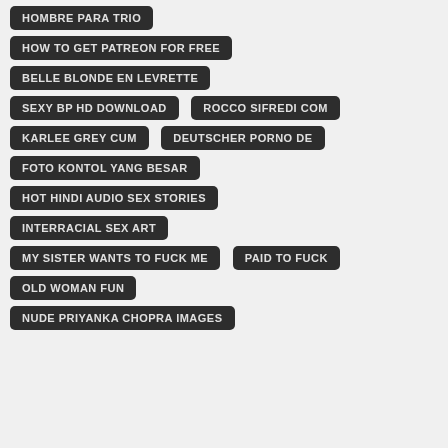HOMBRE PARA TRIO
HOW TO GET PATREON FOR FREE
BELLE BLONDE EN LEVRETTE
SEXY BP HD DOWNLOAD
ROCCO SIFREDI COM
KARLEE GREY CUM
DEUTSCHER PORNO DE
FOTO KONTOL YANG BESAR
HOT HINDI AUDIO SEX STORIES
INTERRACIAL SEX ART
MY SISTER WANTS TO FUCK ME
PAID TO FUCK
OLD WOMAN FUN
NUDE PRIYANKA CHOPRA IMAGES